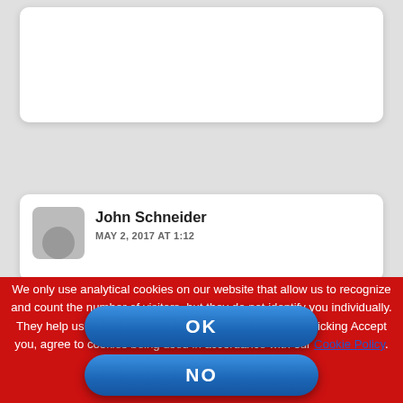[Figure (screenshot): Partially visible white card UI element at top of page on grey background]
[Figure (screenshot): Comment card showing user avatar placeholder, name John Schneider, and date MAY 2, 2017 AT 1:12]
We only use analytical cookies on our website that allow us to recognize and count the number of visitors, but they do not identify you individually. They help us to improve the way our website works. By clicking Accept you, agree to cookies being used in accordance with our Cookie Policy.
OK
NO
COOKIE POLICY